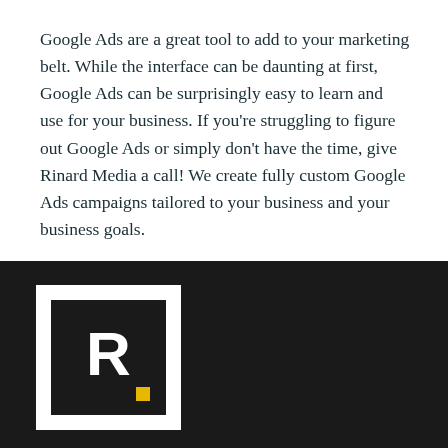Google Ads are a great tool to add to your marketing belt. While the interface can be daunting at first, Google Ads can be surprisingly easy to learn and use for your business. If you're struggling to figure out Google Ads or simply don't have the time, give Rinard Media a call! We create fully custom Google Ads campaigns tailored to your business and your business goals.
[Figure (logo): Rinard Media logo: white square border with black interior containing white bold R with yellow dot, on dark background]
R. CALL MENU